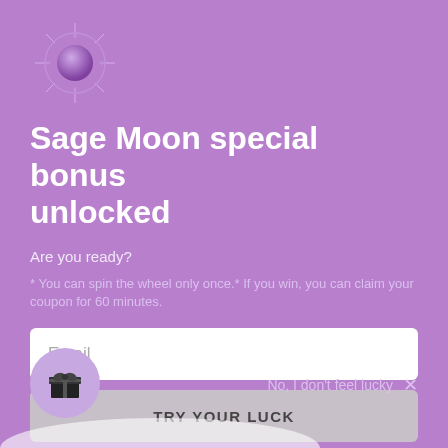[Figure (logo): Circular logo with purple orb/sphere in center, surrounded by star/compass decoration lines on purple background]
Sage Moon special bonus unlocked
Are you ready?
* You can spin the wheel only once.* If you win, you can claim your coupon for 60 minutes.
Email
TRY YOUR LUCK
[Figure (illustration): Purple circle with black gift box icon]
No, I don't feel lucky  ×